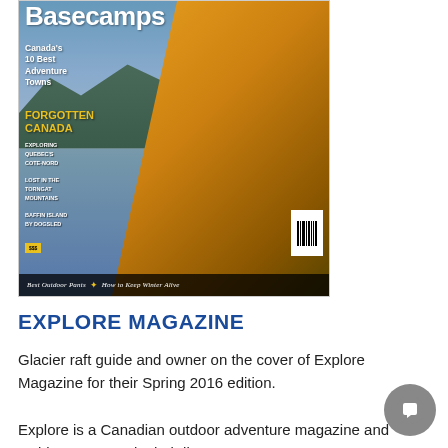[Figure (photo): Magazine cover of Explore Magazine (Basecamps issue) showing a raft guide in a yellow jacket paddling, with mountains and river in background. Cover text includes 'Basecamps', 'Canada's 10 Best Adventure Towns', 'FORGOTTEN CANADA', 'EXPLORING QUEBEC'S COTE-NORD', 'LOST IN THE TORNGAT MOUNTAINS', 'BAFFIN ISLAND BY DOGSLED', 'Best Outdoor Pants * How to Keep Winter Alive']
EXPLORE MAGAZINE
Glacier raft guide and owner on the cover of Explore Magazine for their Spring 2016 edition.
Explore is a Canadian outdoor adventure magazine and Golden, B.C. made their list as